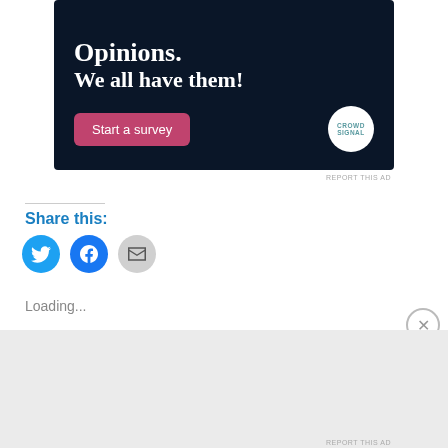[Figure (illustration): Advertisement banner with dark navy background showing 'Opinions. We all have them!' text, a pink 'Start a survey' button, and Crowdsignal logo circle]
REPORT THIS AD
Share this:
[Figure (illustration): Social share icons: Twitter (blue bird), Facebook (blue f), Email (grey envelope)]
Loading...
Advertisements
[Figure (illustration): DuckDuckGo advertisement banner with orange background. Text: 'Search, browse, and email with more privacy. All in One Free App' with DuckDuckGo logo and phone image]